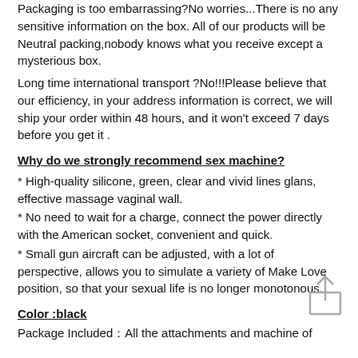Packaging is too embarrassing?No worries...There is no any sensitive information on the box. All of our products will be Neutral packing,nobody knows what you receive except a mysterious box.
Long time international transport ?No!!!Please believe that our efficiency, in your address information is correct, we will ship your order within 48 hours, and it won't exceed 7 days before you get it .
Why do we strongly recommend sex machine?
* High-quality silicone, green, clear and vivid lines glans, effective massage vaginal wall.
* No need to wait for a charge, connect the power directly with the American socket, convenient and quick.
* Small gun aircraft can be adjusted, with a lot of perspective, allows you to simulate a variety of Make Love position, so that your sexual life is no longer monotonous.
Color :black
Package Included：All the attachments and machine of